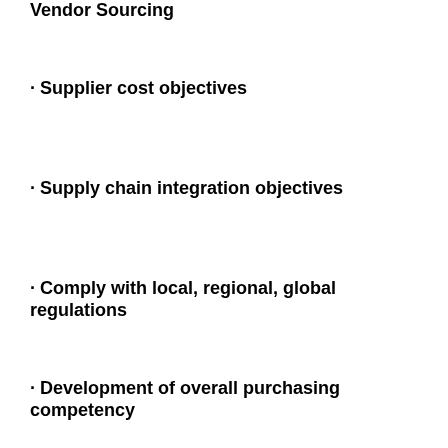Vendor Sourcing
· Supplier cost objectives
· Supply chain integration objectives
· Comply with local, regional, global regulations
· Development of overall purchasing competency